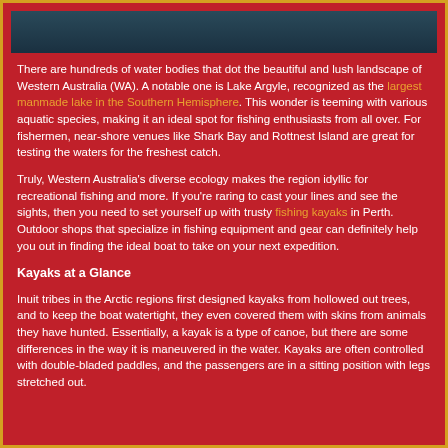[Figure (photo): Dark teal/navy background image strip at top of page]
There are hundreds of water bodies that dot the beautiful and lush landscape of Western Australia (WA). A notable one is Lake Argyle, recognized as the largest manmade lake in the Southern Hemisphere. This wonder is teeming with various aquatic species, making it an ideal spot for fishing enthusiasts from all over. For fishermen, near-shore venues like Shark Bay and Rottnest Island are great for testing the waters for the freshest catch.
Truly, Western Australia's diverse ecology makes the region idyllic for recreational fishing and more. If you're raring to cast your lines and see the sights, then you need to set yourself up with trusty fishing kayaks in Perth. Outdoor shops that specialize in fishing equipment and gear can definitely help you out in finding the ideal boat to take on your next expedition.
Kayaks at a Glance
Inuit tribes in the Arctic regions first designed kayaks from hollowed out trees, and to keep the boat watertight, they even covered them with skins from animals they have hunted. Essentially, a kayak is a type of canoe, but there are some differences in the way it is maneuvered in the water. Kayaks are often controlled with double-bladed paddles, and the passengers are in a sitting position with legs stretched out.